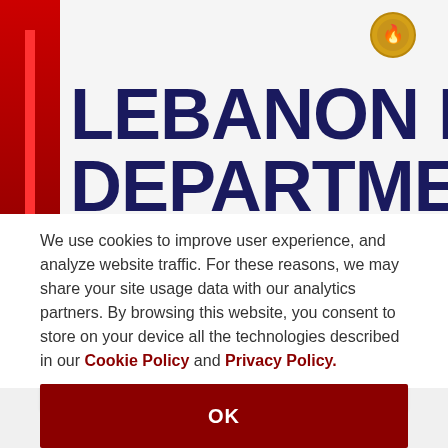[Figure (photo): Lebanon Fire Department banner/logo with dark blue bold text reading 'LEBANON F' and 'DEPARTMEN' (partially cropped), red firefighter figure on left side, gold emblem top right, gray background]
Fire stations adopt robotic dispatch system
We use cookies to improve user experience, and analyze website traffic. For these reasons, we may share your site usage data with our analytics partners. By browsing this website, you consent to store on your device all the technologies described in our Cookie Policy and Privacy Policy.
OK